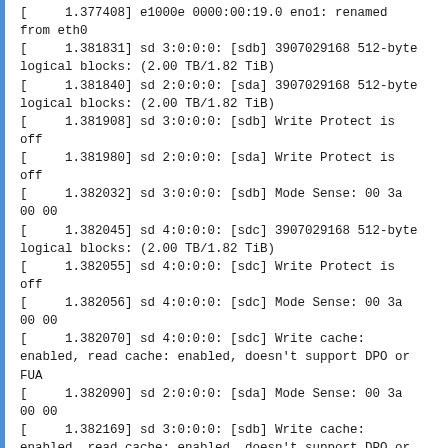[ 1.377408] e1000e 0000:00:19.0 eno1: renamed from eth0
[ 1.381831] sd 3:0:0:0: [sdb] 3907029168 512-byte logical blocks: (2.00 TB/1.82 TiB)
[ 1.381840] sd 2:0:0:0: [sda] 3907029168 512-byte logical blocks: (2.00 TB/1.82 TiB)
[ 1.381908] sd 3:0:0:0: [sdb] Write Protect is off
[ 1.381980] sd 2:0:0:0: [sda] Write Protect is off
[ 1.382032] sd 3:0:0:0: [sdb] Mode Sense: 00 3a 00 00
[ 1.382045] sd 4:0:0:0: [sdc] 3907029168 512-byte logical blocks: (2.00 TB/1.82 TiB)
[ 1.382055] sd 4:0:0:0: [sdc] Write Protect is off
[ 1.382056] sd 4:0:0:0: [sdc] Mode Sense: 00 3a 00 00
[ 1.382070] sd 4:0:0:0: [sdc] Write cache: enabled, read cache: enabled, doesn't support DPO or FUA
[ 1.382090] sd 2:0:0:0: [sda] Mode Sense: 00 3a 00 00
[ 1.382169] sd 3:0:0:0: [sdb] Write cache: enabled, read cache: enabled, doesn't support DPO or FUA
[ 1.382226] sd 2:0:0:0: [sda] Write cache: enabled, read cache: enabled, doesn't support DPO or FUA
[    ]